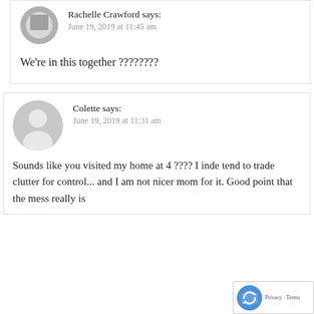[Figure (photo): Small circular avatar photo of Rachelle Crawford, grayscale image of a person]
Rachelle Crawford says:
June 19, 2019 at 11:45 am
We're in this together ????????
[Figure (illustration): Generic gray user avatar icon — silhouette of a person in a circle]
Colette says:
June 19, 2019 at 11:31 am
Sounds like you visited my home at 4 ???? I inde tend to trade clutter for control... and I am not nicer mom for it. Good point that the mess really is